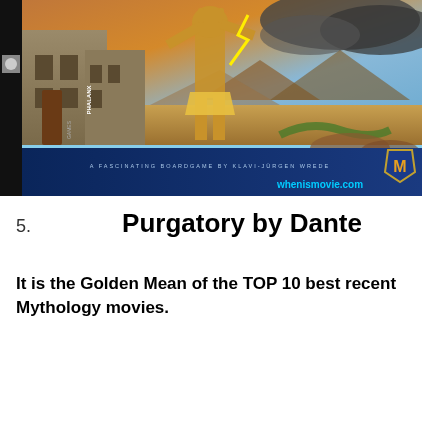[Figure (photo): A fantasy/mythology themed image showing a warrior figure with animal head (likely Anubis or similar deity) holding lightning, standing before ancient stone buildings with a dramatic sunset sky and desert landscape. Bottom has a dark blue banner with text 'A FASCINATING BOARDGAME BY KLAVI-JURGEN WREDE' and 'whenismovie.com'. Left side has 'PHALANX' vertical text. Bottom right has an 'M' shield badge.]
5.   Purgatory by Dante
It is the Golden Mean of the TOP 10 best recent Mythology movies.